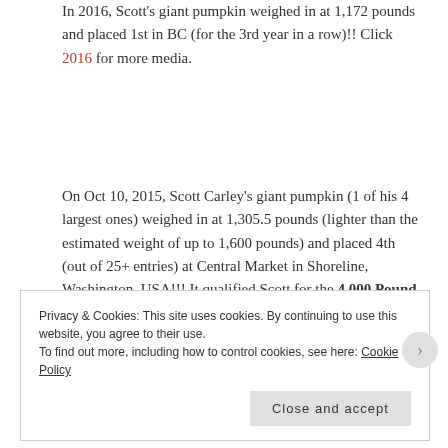In 2016, Scott's giant pumpkin weighed in at 1,172 pounds and placed 1st in BC (for the 3rd year in a row)!! Click 2016 for more media.
On Oct 10, 2015, Scott Carley's giant pumpkin (1 of his 4 largest ones) weighed in at 1,305.5 pounds (lighter than the estimated weight of up to 1,600 pounds) and placed 4th (out of 25+ entries) at Central Market in Shoreline, Washington, USA!!! It qualified Scott for the 4,000 Pound Club (aggregate weight for his Top 3 Giants) and coveted Certified World Recognized Great Pumpkin Commonwealth (GPC) Jacket — Scott is the 1st grower
Privacy & Cookies: This site uses cookies. By continuing to use this website, you agree to their use.
To find out more, including how to control cookies, see here: Cookie Policy
Close and accept